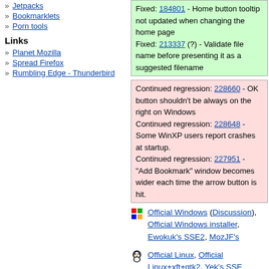» Jetpacks
» Bookmarklets
» Porn tools
Links
» Planet Mozilla
» Spread Firefox
» Rumbling Edge - Thunderbird
Fixed: 184801 - Home button tooltip not updated when changing the home page
Fixed: 213337 (?) - Validate file name before presenting it as a suggested filename
Continued regression: 228660 - OK button shouldn't be always on the right on Windows
Continued regression: 228648 - Some WinXP users report crashes at startup.
Continued regression: 227951 - "Add Bookmark" window becomes wider each time the arrow button is hit.
Official Windows (Discussion), Official Windows installer, Ewokuk's SSE2, MozJF's
Official Linux, Official Linux+xft+gtk2, Yek's SSE xft+gtk2 with DOMi,Venkman, daihard's
Official Mac
This entry was posted on Tuesday, December 16th, 2003 at 4:48 pm and is filed under Trunk. You can follow any responses to this entry through the RSS 2.0 feed. Both comments and pings are currently closed.